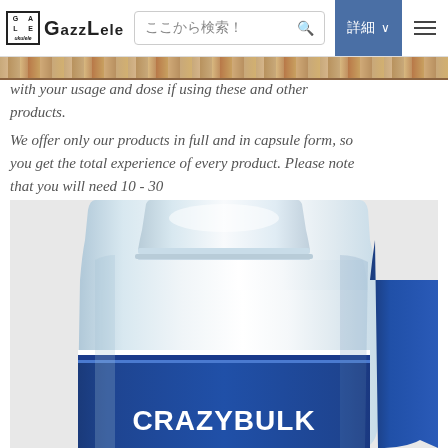GazzLele — ここから検索！ 詳細
with your usage and dose if using these and other products.
We offer only our products in full and in capsule form, so you get the total experience of every product. Please note that you will need 10 - 30
[Figure (photo): Close-up photo of a white supplement bottle with blue label reading CRAZYBULK]